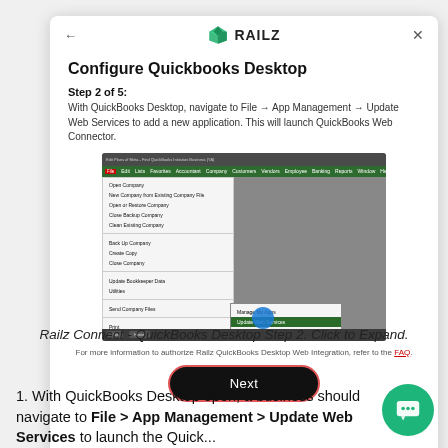[Figure (screenshot): Railz Connect modal dialog showing 'Configure Quickbooks Desktop' Step 2 of 5. Contains a screenshot of QuickBooks Desktop File menu with App Management > Update Web Services highlighted. A 'Next' button is shown at the bottom with a red border outline.]
Railz Connect - QuickBooks Desktop Step 2. Click to Expand.
1. With QuickBooks Desktop open, a business should navigate to File > App Management > Update Web Services to launch the Quick...